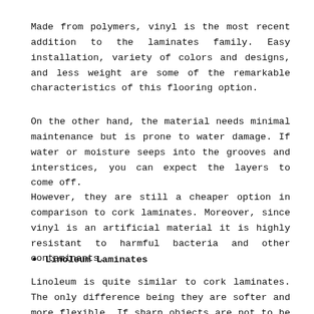Made from polymers, vinyl is the most recent addition to the laminates family. Easy installation, variety of colors and designs, and less weight are some of the remarkable characteristics of this flooring option.
On the other hand, the material needs minimal maintenance but is prone to water damage. If water or moisture seeps into the grooves and interstices, you can expect the layers to come off.
However, they are still a cheaper option in comparison to cork laminates. Moreover, since vinyl is an artificial material it is highly resistant to harmful bacteria and other contaminants.
Linoleum Laminates
Linoleum is quite similar to cork laminates. The only difference being they are softer and more flexible. If sharp objects are not to be found on your shopfloor then you may opt for linoleum floorings. Although, it is highly unlikely to ignore the presence of